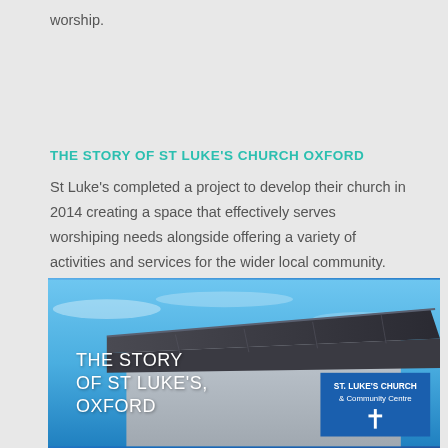worship.
THE STORY OF ST LUKE'S CHURCH OXFORD
St Luke's completed a project to develop their church in 2014 creating a space that effectively serves worshiping needs alongside offering a variety of activities and services for the wider local community. The film tells the story of this building project highlighting the open and creative approach that was taken to engage the community throughout the process, and the value that this engagement brought.
[Figure (photo): Photograph of St Luke's Church exterior showing the roof and building with a blue sky background. Overlaid text reads 'THE STORY OF ST LUKE'S, OXFORD' and a blue sign reads 'ST. LUKE'S CHURCH & Community Centre' with a cross symbol.]